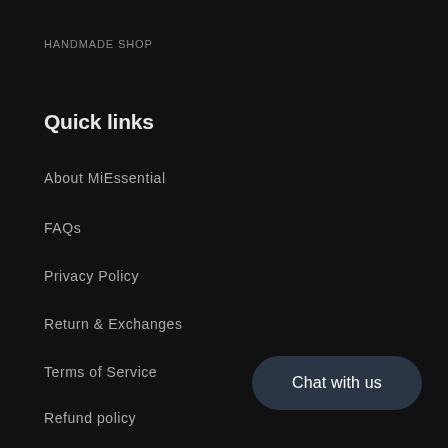HANDMADE SHOP
Quick links
About MiEssential
FAQs
Privacy Policy
Return & Exchanges
Terms of Service
Refund policy
Chat with us